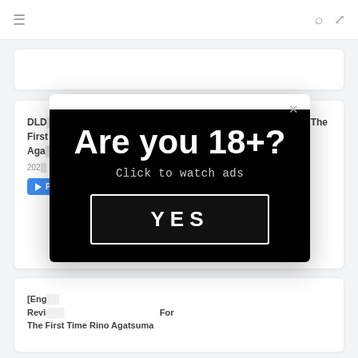Navigation bar with menu, search, and expand icons
DLD... Add New Document Sensitive Acme? Reactivate For The First Time Rina Agatsuma
2021
[Figure (screenshot): Blue play button icon]
[Figure (infographic): Age verification modal popup with black background ad box reading 'Are you 18+?' and 'Click to watch ads' with a YES button]
[Eng...] Reviving... For The First Time Rino Agatsuma